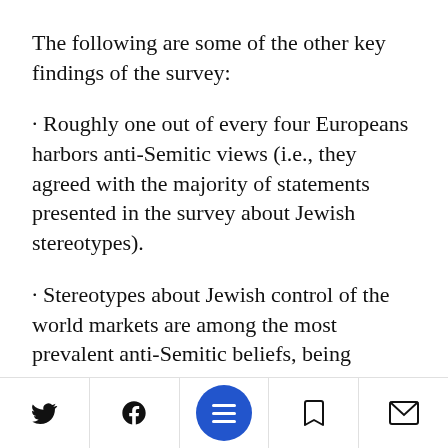The following are some of the other key findings of the survey:
Roughly one out of every four Europeans harbors anti-Semitic views (i.e., they agreed with the majority of statements presented in the survey about Jewish stereotypes).
Stereotypes about Jewish control of the world markets are among the most prevalent anti-Semitic beliefs, being especially widespread in Eastern Europe. Asked whether they agreed with the statement that “Jews have too much power in the busines…ld,” 72 percent of
Twitter | Facebook | Menu | Bookmark | Mail